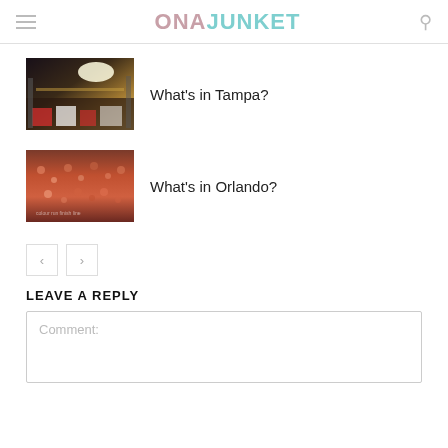ONAJUNKET
[Figure (photo): Sports crowd at Tampa event, nighttime stadium with bright lights]
What's in Tampa?
[Figure (photo): Large crowd of people at an Orlando event or race]
What's in Orlando?
< >
LEAVE A REPLY
Comment: